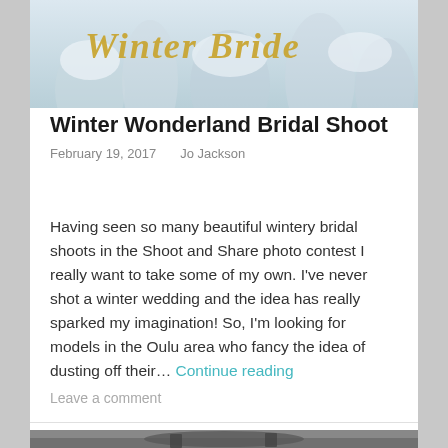[Figure (photo): Winter scene with snow-covered trees and gold script text overlay]
Winter Wonderland Bridal Shoot
February 19, 2017   Jo Jackson
Having seen so many beautiful wintery bridal shoots in the Shoot and Share photo contest I really want to take some of my own. I've never shot a winter wedding and the idea has really sparked my imagination! So, I'm looking for models in the Oulu area who fancy the idea of dusting off their… Continue reading
Leave a comment
[Figure (photo): Black and white photo partially visible at bottom of page]